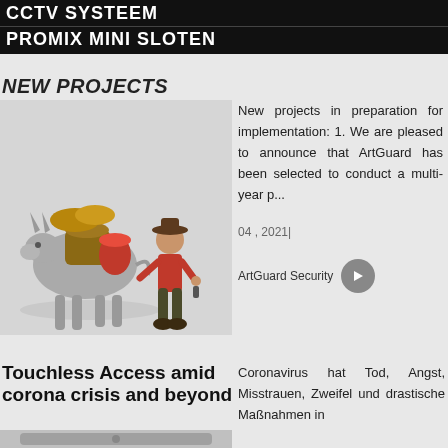CCTV SYSTEEM
PROMIX MINI SLOTEN
NEW PROJECTS
[Figure (illustration): 3D render of a cowboy with a loaded donkey carrying goods]
New projects in preparation for implementation: 1. We are pleased to announce that ArtGuard has been selected to conduct a multi-year p...
04 , 2021|
ArtGuard Security
Touchless Access amid corona crisis and beyond
Coronavirus hat Tod, Angst, Misstrauen, Zweifel und drastische Maßnahmen in
[Figure (photo): Photo of a touchless access control device/reader]